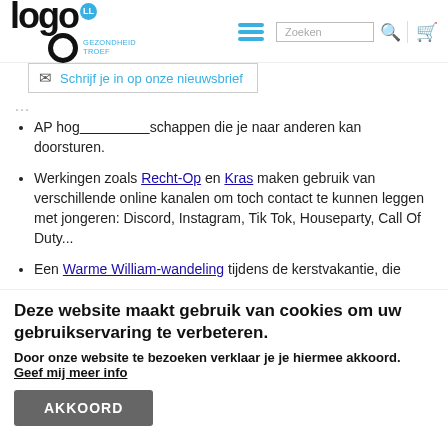[Figure (logo): Logo Gezondheid Troef with blue circle LL badge and tagline GEZONDHEID TROEF]
Schrijf je in op onze nieuwsbrief
AP hog... schappen die je naar anderen kan doorsturen.
Werkingen zoals Recht-Op en Kras maken gebruik van verschillende online kanalen om toch contact te kunnen leggen met jongeren: Discord, Instagram, Tik Tok, Houseparty, Call Of Duty...
Een Warme William-wandeling tijdens de kerstvakantie, die
Deze website maakt gebruik van cookies om uw gebruikservaring te verbeteren.
Door onze website te bezoeken verklaar je je hiermee akkoord. Geef mij meer info
AKKOORD